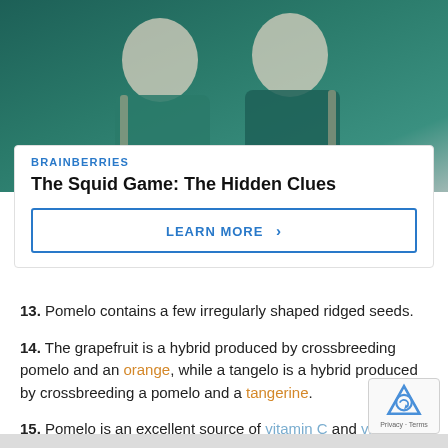[Figure (photo): Photo of people in teal/green jackets, partially cropped at top — Squid Game advertisement image]
BRAINBERRIES
The Squid Game: The Hidden Clues
LEARN MORE >
13. Pomelo contains a few irregularly shaped ridged seeds.
14. The grapefruit is a hybrid produced by crossbreeding pomelo and an orange, while a tangelo is a hybrid produced by crossbreeding a pomelo and a tangerine.
15. Pomelo is an excellent source of vitamin C and vitamin A, dietary fibers and minerals such as potassium, iro calcium.